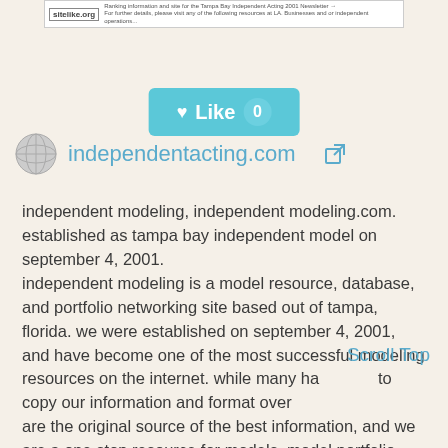[Figure (screenshot): Small screenshot of sitelike.org header with logo and text]
[Figure (other): Teal 'Like 0' button with heart icon]
independentacting.com
independent modeling, independent modeling.com. established as tampa bay independent model on september 4, 2001. independent modeling is a model resource, database, and portfolio networking site based out of tampa, florida. we were established on september 4, 2001, and have become one of the most successful modeling resources on the internet. while many ha to copy our information and format over are the original source of the best information, and we are a one stop resource for models, model portfolio photographers, and the businesses that book them. unlike other modeling resource sites, we have our own staff of writers who are experts in the modeling
Scroll Top